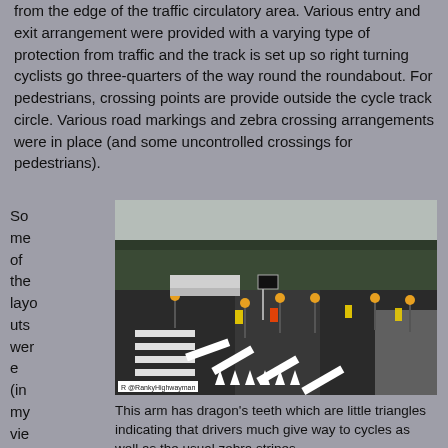from the edge of the traffic circulatory area. Various entry and exit arrangement were provided with a varying type of protection from traffic and the track is set up so right turning cyclists go three-quarters of the way round the roundabout. For pedestrians, crossing points are provide outside the cycle track circle. Various road markings and zebra crossing arrangements were in place (and some uncontrolled crossings for pedestrians).
Some of the layouts were (in my view)
[Figure (photo): Aerial-level view of a roundabout junction showing zebra crossing markings (dragon's teeth triangles and stripes), bollards with orange globes, road workers in high-vis vests, and surrounding trees. Watermark: @RankyHighwayman]
This arm has dragon's teeth which are little triangles indicating that drivers much give way to cycles as well as the usual zebra stripes.